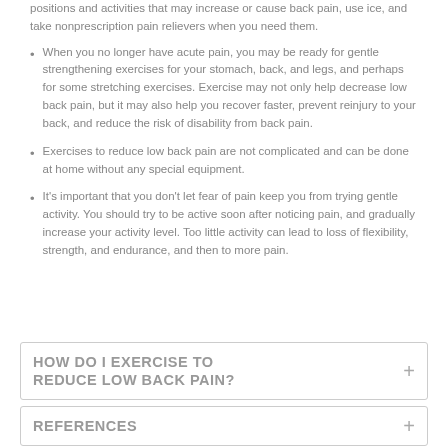positions and activities that may increase or cause back pain, use ice, and take nonprescription pain relievers when you need them.
When you no longer have acute pain, you may be ready for gentle strengthening exercises for your stomach, back, and legs, and perhaps for some stretching exercises. Exercise may not only help decrease low back pain, but it may also help you recover faster, prevent reinjury to your back, and reduce the risk of disability from back pain.
Exercises to reduce low back pain are not complicated and can be done at home without any special equipment.
It's important that you don't let fear of pain keep you from trying gentle activity. You should try to be active soon after noticing pain, and gradually increase your activity level. Too little activity can lead to loss of flexibility, strength, and endurance, and then to more pain.
HOW DO I EXERCISE TO REDUCE LOW BACK PAIN?
REFERENCES